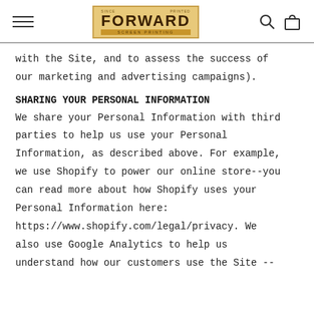FORWARD SCREEN PRINTING
with the Site, and to assess the success of our marketing and advertising campaigns).
SHARING YOUR PERSONAL INFORMATION
We share your Personal Information with third parties to help us use your Personal Information, as described above. For example, we use Shopify to power our online store--you can read more about how Shopify uses your Personal Information here: https://www.shopify.com/legal/privacy. We also use Google Analytics to help us understand how our customers use the Site --